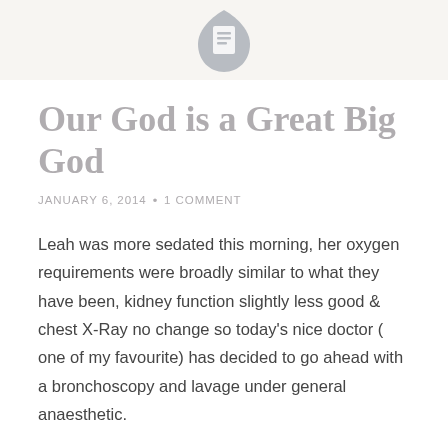[Document icon]
Our God is a Great Big God
JANUARY 6, 2014  •  1 COMMENT
Leah was more sedated this morning, her oxygen requirements were broadly similar to what they have been, kidney function slightly less good & chest X-Ray no change so today's nice doctor ( one of my favourite) has decided to go ahead with a bronchoscopy and lavage under general anaesthetic.
They hope that this will enable a more definite